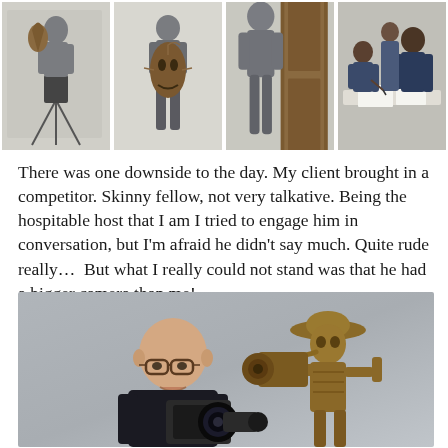[Figure (photo): Four photos in a row: photographer with sculpture on tripod, man holding African mask, man standing next to large wooden door/panel, people around a table signing papers]
There was one downside to the day. My client brought in a competitor. Skinny fellow, not very talkative. Being the hospitable host that I am I tried to engage him in conversation, but I'm afraid he didn't say much. Quite rude really…  But what I really could not stand was that he had a bigger camera than me!
[Figure (photo): A bald man with glasses holding a camera, next to a metal sculpture of a figure with a large camera-like apparatus]